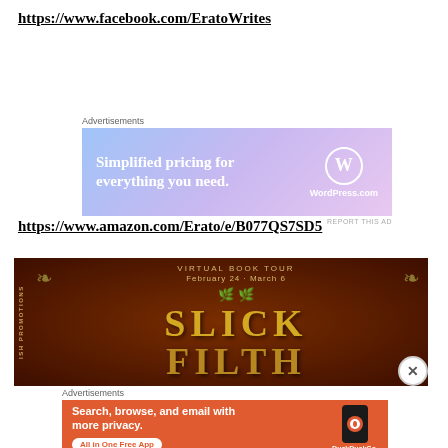https://www.facebook.com/EratoWrites
[Figure (other): WordPress.com advertisement banner: blue-purple gradient background with text 'Simplified pricing for everything you need.' and WordPress.com logo]
https://www.amazon.com/Erato/e/B077QS7SD5
[Figure (other): Virtual Book Tour banner for 'Slick Filth' February 24 - March 6, dark brown background with gold decorative text and fleur-de-lis ornaments, 'ISH PROMOTIONS' text on left side]
[Figure (other): DuckDuckGo advertisement: orange background with text 'Search, browse, and email with more privacy. All in One Free App' with phone illustration]